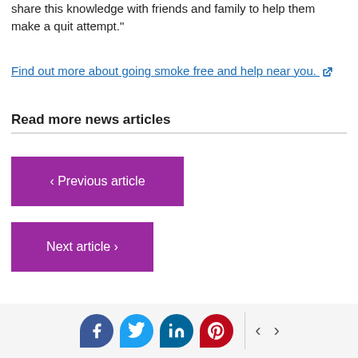share this knowledge with friends and family to help them make a quit attempt."
Find out more about going smoke free and help near you.
Read more news articles
< Previous article
Next article >
[Figure (infographic): Social media sharing bar with Facebook, Twitter, LinkedIn, Pinterest icons and left/right navigation arrows]